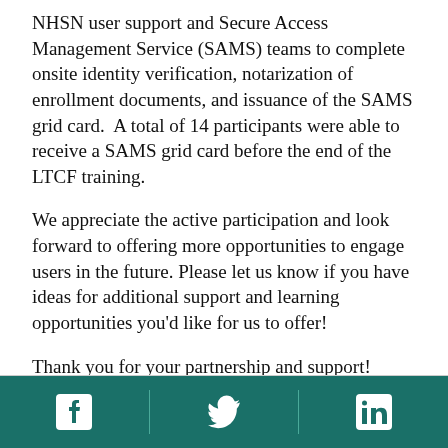NHSN user support and Secure Access Management Service (SAMS) teams to complete onsite identity verification, notarization of enrollment documents, and issuance of the SAMS grid card.  A total of 14 participants were able to receive a SAMS grid card before the end of the LTCF training.
We appreciate the active participation and look forward to offering more opportunities to engage users in the future. Please let us know if you have ideas for additional support and learning opportunities you'd like for us to offer!
Thank you for your partnership and support!
NHSN LTCF Team
[Figure (other): Footer with teal background containing Facebook, Twitter, and LinkedIn social media icons separated by vertical dividers]